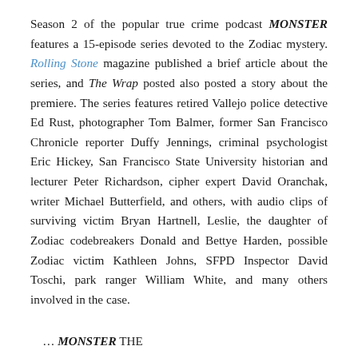Season 2 of the popular true crime podcast MONSTER features a 15-episode series devoted to the Zodiac mystery. Rolling Stone magazine published a brief article about the series, and The Wrap posted also posted a story about the premiere. The series features retired Vallejo police detective Ed Rust, photographer Tom Balmer, former San Francisco Chronicle reporter Duffy Jennings, criminal psychologist Eric Hickey, San Francisco State University historian and lecturer Peter Richardson, cipher expert David Oranchak, writer Michael Butterfield, and others, with audio clips of surviving victim Bryan Hartnell, Leslie, the daughter of Zodiac codebreakers Donald and Bettye Harden, possible Zodiac victim Kathleen Johns, SFPD Inspector David Toschi, park ranger William White, and many others involved in the case.
… MONSTER THE